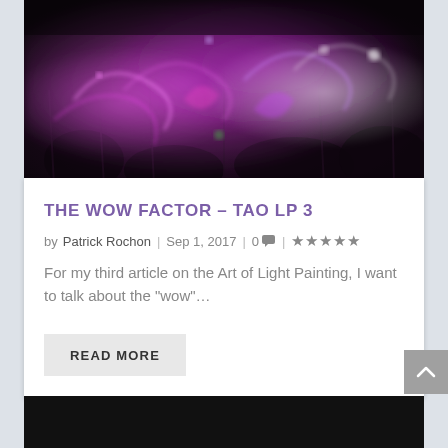[Figure (photo): Dark fantasy / long-exposure light painting photograph of a field with purple and pink glowing light trails and bokeh effects over dark vegetation]
THE WOW FACTOR – TAO LP 3
by Patrick Rochon | Sep 1, 2017 | 0 | ★★★★★
For my third article on the Art of Light Painting, I want to talk about the "wow"…
READ MORE
[Figure (photo): Bottom portion of second article image, appearing as a dark/black strip]